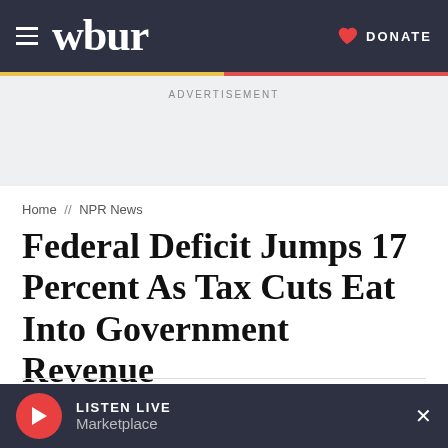wbur  DONATE
ADVERTISEMENT
Home // NPR News
Federal Deficit Jumps 17 Percent As Tax Cuts Eat Into Government Revenue
October 16, 2018  By Scott Horsley
LISTEN LIVE Marketplace